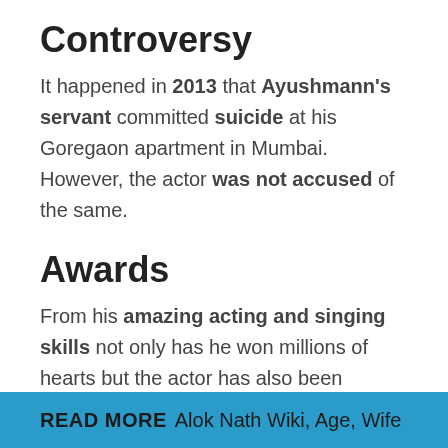Controversy
It happened in 2013 that Ayushmann's servant committed suicide at his Goregaon apartment in Mumbai. However, the actor was not accused of the same.
Awards
From his amazing acting and singing skills not only has he won millions of hearts but the actor has also been awarded some prestigious awards.
READ MORE  Alok Nath Wiki, Age, Wife